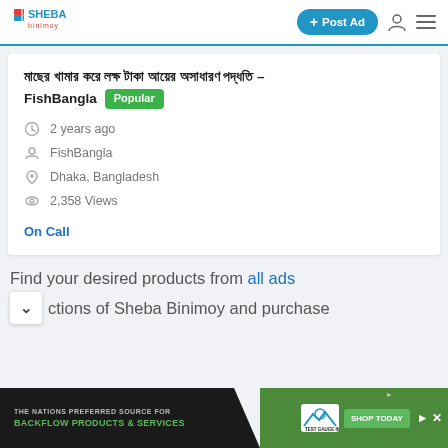Sheba Binimoy - Post Ad
মাছের খামার করে লক্ষ টাকা আয়ের অসাধারণ পদ্ধতি – FishBangla Popular
2 years ago
FishBangla
Dhaka, Bangladesh
2,358 Views
On Call
Find your desired products from all ads ctions of Sheba Binimoy and purchase
[Figure (screenshot): Advertisement banner for Test Gauge Inc. with text: THE NATIONS PREFERRED SOURCE FOR BACKFLOW PRODUCTS & SERVICES and SHOP TODAY button]